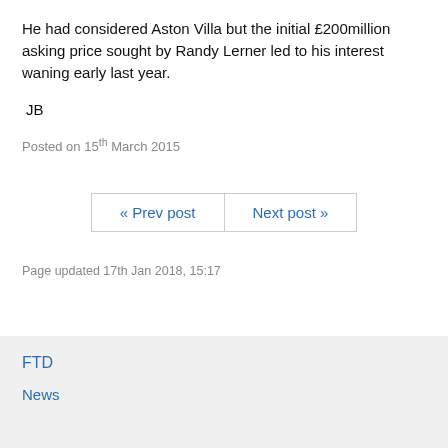He had considered Aston Villa but the initial £200million asking price sought by Randy Lerner led to his interest waning early last year.
JB
Posted on 15th March 2015
« Prev post   Next post »
Page updated 17th Jan 2018, 15:17
FTD
News